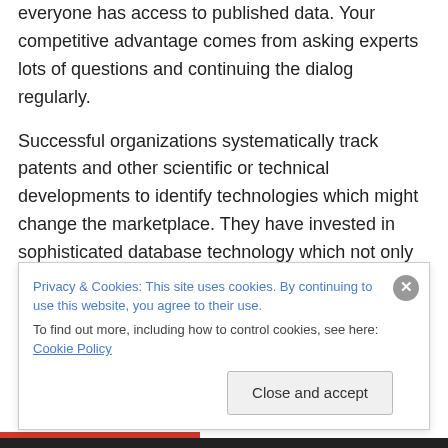everyone has access to published data. Your competitive advantage comes from asking experts lots of questions and continuing the dialog regularly.
Successful organizations systematically track patents and other scientific or technical developments to identify technologies which might change the marketplace. They have invested in sophisticated database technology which not only collects competitor data, but also classifies it into relevant categories and in some cases maps it out. This level of sophistication allows the CTI manager to spend more time analyzing the data and meeting with people
Privacy & Cookies: This site uses cookies. By continuing to use this website, you agree to their use.
To find out more, including how to control cookies, see here: Cookie Policy